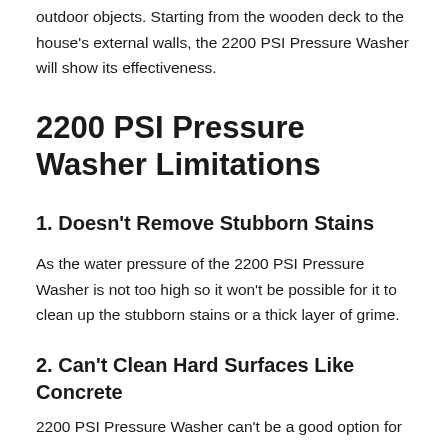outdoor objects. Starting from the wooden deck to the house's external walls, the 2200 PSI Pressure Washer will show its effectiveness.
2200 PSI Pressure Washer Limitations
1. Doesn't Remove Stubborn Stains
As the water pressure of the 2200 PSI Pressure Washer is not too high so it won't be possible for it to clean up the stubborn stains or a thick layer of grime.
2. Can't Clean Hard Surfaces Like Concrete
2200 PSI Pressure Washer can't be a good option for